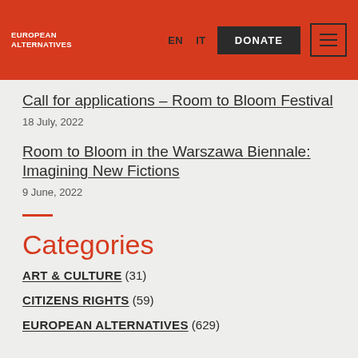EUROPEAN ALTERNATIVES | EN | IT | DONATE
Call for applications – Room to Bloom Festival
18 July, 2022
Room to Bloom in the Warszawa Biennale: Imagining New Fictions
9 June, 2022
Categories
ART & CULTURE (31)
CITIZENS RIGHTS (59)
EUROPEAN ALTERNATIVES (629)